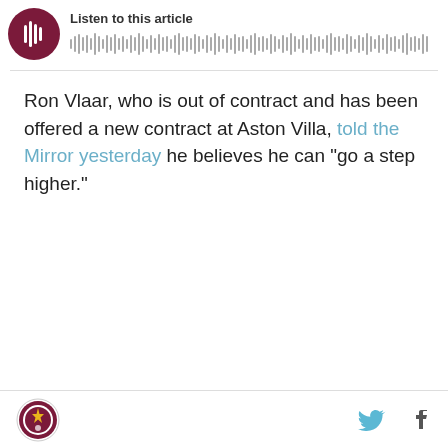[Figure (other): Audio player widget with maroon play button circle and waveform bars, labeled 'Listen to this article']
Ron Vlaar, who is out of contract and has been offered a new contract at Aston Villa, told the Mirror yesterday he believes he can "go a step higher."
Aston Villa crest logo, Twitter bird icon, Facebook f icon